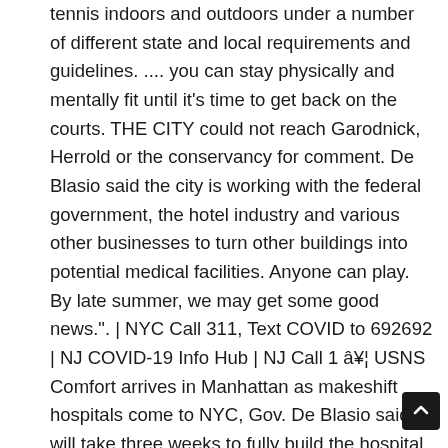tennis indoors and outdoors under a number of different state and local requirements and guidelines. .... you can stay physically and mentally fit until it's time to get back on the courts. THE CITY could not reach Garodnick, Herrold or the conservancy for comment. De Blasio said the city is working with the federal government, the hotel industry and various other businesses to turn other buildings into potential medical facilities. Anyone can play. By late summer, we may get some good news.". | NYC Call 311, Text COVID to 692692 | NJ COVID-19 Info Hub | NJ Call 1 â¥¦ USNS Comfort arrives in Manhattan as makeshift hospitals come to NYC, Gov. De Blasio said it will take three weeks to fully build the hospital at the tennis center; patients will be transferred from Elmhurst Hospital starting next week. If you have already purchased a tennis permit, it will be valid through 2021. Free COVID-19 testing is now available in New York City at more than 100 locations across the city. A nasal swab, oral swab or saliva sample may be used ... NYC is a trademark and service mark of the City of New York. Our clubs are